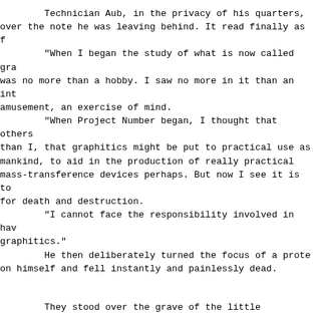Technician Aub, in the privacy of his quarters, pored over the note he was leaving behind. It read finally as f
        "When I began the study of what is now called gra was no more than a hobby. I saw no more in it than an in amusement, an exercise of mind.
        "When Project Number began, I thought that others than I, that graphitics might be put to practical use as mankind, to aid in the production of really practical mass-transference devices perhaps. But now I see it is to for death and destruction.
        "I cannot face the responsibility involved in hav graphitics."
        He then deliberately turned the focus of a prote on himself and fell instantly and painlessly dead.
They stood over the grave of the little technicia tribute was paid to the greatness of his discovery.
        Programmer Shuman bowed his head along with the r but remained unmoved. The technician had done his share a longer needed, after all. He might have started graphitic that it had started, it would carry on by itself overwhel triumphantly, until manned missiles were possible with wh else.
        Nine times seven, thought Shuman with deep satis sixty-three, and I don't need a computer to tell me so. is in my own head.
        And it was amazing the feeling of power that gave